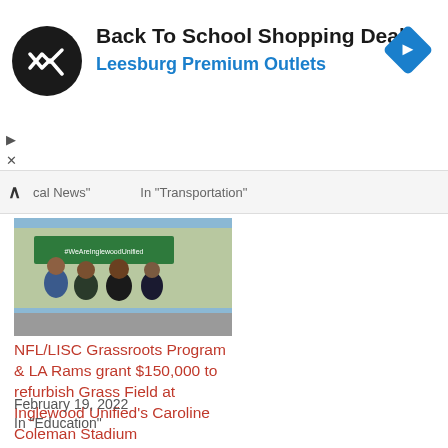[Figure (infographic): Advertisement banner for 'Back To School Shopping Deals' at Leesburg Premium Outlets with circular logo on left and blue diamond navigation icon on right]
Back To School Shopping Deals
Leesburg Premium Outlets
cal News"   In "Transportation"
[Figure (photo): Four people standing outdoors in front of a building with a green banner reading #WeAreInglewoodUnified]
NFL/LISC Grassroots Program & LA Rams grant $150,000 to refurbish Grass Field at Inglewood Unified's Caroline Coleman Stadium
February 19, 2022
In "Education"